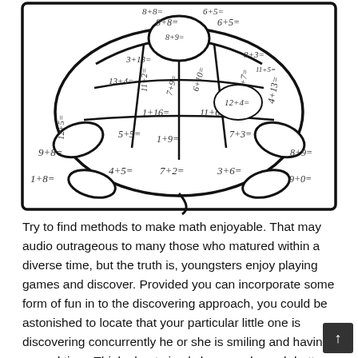[Figure (illustration): A turtle coloring page with math addition problems written in each section of the turtle's shell and body. Problems include: 8+8=, 6+5=, 8+3=, 8+9=, 9+8=, 3+13=, 11+5=, 11+2=, 7+9=, 6+10=, 12+4=, 10+7=, 4+13=, 12+5=, 13+4=, 1+16=, 11+6=, 5+5=, 1+9=, 7+3=, 1+8=, 4+5=, 7+2=, 3+6=, 9+0=]
Try to find methods to make math enjoyable. That may audio outrageous to many those who matured within a diverse time, but the truth is, youngsters enjoy playing games and discover. Provided you can incorporate some form of fun in to the discovering approach, you could be astonished to locate that your particular little one is discovering concurrently he or she is smiling and having a good time. Think about simply how much much better you oneself learn and understand issues when you are searching for a subject or having fun throughout an activity.